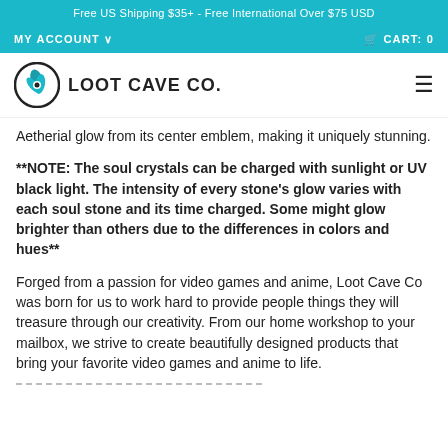Free US Shipping $35+ - Free International Over $75 USD
MY ACCOUNT ∨   CART: 0
[Figure (logo): Loot Cave Co. logo — circular emblem with stylized leaf/claw mark and company name text]
Aetherial glow from its center emblem, making it uniquely stunning.
**NOTE: The soul crystals can be charged with sunlight or UV black light. The intensity of every stone's glow varies with each soul stone and its time charged. Some might glow brighter than others due to the differences in colors and hues**
Forged from a passion for video games and anime, Loot Cave Co was born for us to work hard to provide people things they will treasure through our creativity. From our home workshop to your mailbox, we strive to create beautifully designed products that bring your favorite video games and anime to life.